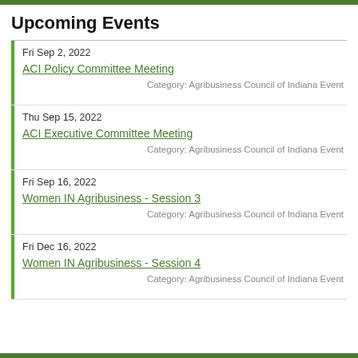Upcoming Events
Fri Sep 2, 2022 | ACI Policy Committee Meeting | Category: Agribusiness Council of Indiana Event
Thu Sep 15, 2022 | ACI Executive Committee Meeting | Category: Agribusiness Council of Indiana Event
Fri Sep 16, 2022 | Women IN Agribusiness - Session 3 | Category: Agribusiness Council of Indiana Event
Fri Dec 16, 2022 | Women IN Agribusiness - Session 4 | Category: Agribusiness Council of Indiana Event